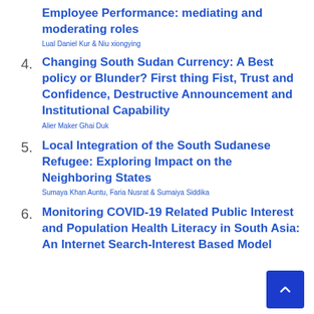Employee Performance: mediating and moderating roles — Lual Daniel Kur & Niu xiongying
4. Changing South Sudan Currency: A Best policy or Blunder? First thing Fist, Trust and Confidence, Destructive Announcement and Institutional Capability — Alier Maker Ghai Duk
5. Local Integration of the South Sudanese Refugee: Exploring Impact on the Neighboring States — Sumaya Khan Auntu, Faria Nusrat & Sumaiya Siddika
6. Monitoring COVID-19 Related Public Interest and Population Health Literacy in South Asia: An Internet Search-Interest Based Model